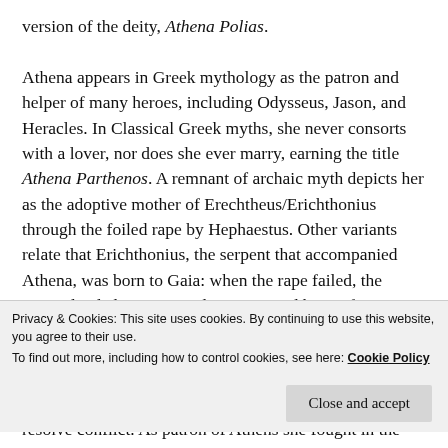version of the deity, Athena Polias.

Athena appears in Greek mythology as the patron and helper of many heroes, including Odysseus, Jason, and Heracles. In Classical Greek myths, she never consorts with a lover, nor does she ever marry, earning the title Athena Parthenos. A remnant of archaic myth depicts her as the adoptive mother of Erechtheus/Erichthonius through the foiled rape by Hephaestus. Other variants relate that Erichthonius, the serpent that accompanied Athena, was born to Gaia: when the rape failed, the semen landed on Gaia and impregnated her.. After
Privacy & Cookies: This site uses cookies. By continuing to use this website, you agree to their use.
To find out more, including how to control cookies, see here: Cookie Policy
Close and accept
resolve conflict. As patron of Athens she fought in the